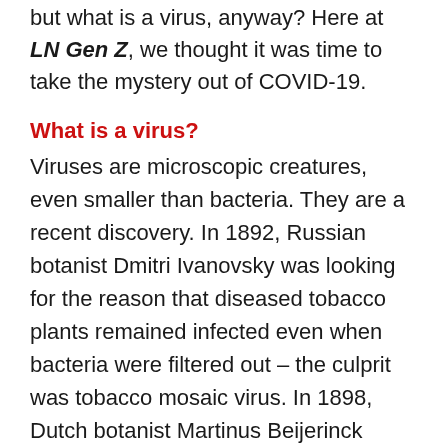but what is a virus, anyway? Here at LN Gen Z, we thought it was time to take the mystery out of COVID-19.
What is a virus?
Viruses are microscopic creatures, even smaller than bacteria. They are a recent discovery. In 1892, Russian botanist Dmitri Ivanovsky was looking for the reason that diseased tobacco plants remained infected even when bacteria were filtered out – the culprit was tobacco mosaic virus. In 1898, Dutch botanist Martinus Beijerinck termed the infectious substance a "virus." In the early 20th